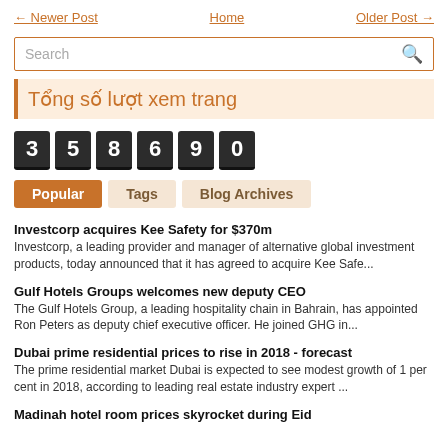← Newer Post   Home   Older Post →
[Figure (other): Search bar with magnifying glass icon]
Tổng số lượt xem trang
[Figure (other): Page view counter showing digits: 3 5 8 6 9 0]
Popular
Tags
Blog Archives
Investcorp acquires Kee Safety for $370m
Investcorp, a leading provider and manager of alternative global investment products, today announced that it has agreed to acquire Kee Safe...
Gulf Hotels Groups welcomes new deputy CEO
The Gulf Hotels Group, a leading hospitality chain in Bahrain, has appointed Ron Peters as deputy chief executive officer. He joined GHG in...
Dubai prime residential prices to rise in 2018 - forecast
The prime residential market Dubai is expected to see modest growth of 1 per cent in 2018, according to leading real estate industry expert ...
Madinah hotel room prices skyrocket during Eid